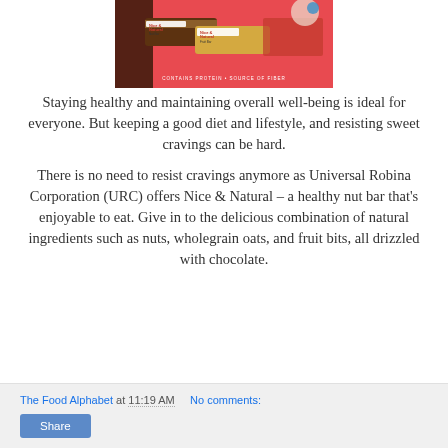[Figure (photo): Product photo of Nice & Natural nut bars on a red background with 'Contains Protein • Source of Fiber' text]
Staying healthy and maintaining overall well-being is ideal for everyone. But keeping a good diet and lifestyle, and resisting sweet cravings can be hard.
There is no need to resist cravings anymore as Universal Robina Corporation (URC) offers Nice & Natural – a healthy nut bar that's enjoyable to eat. Give in to the delicious combination of natural ingredients such as nuts, wholegrain oats, and fruit bits, all drizzled with chocolate.
The Food Alphabet at 11:19 AM   No comments:
Share